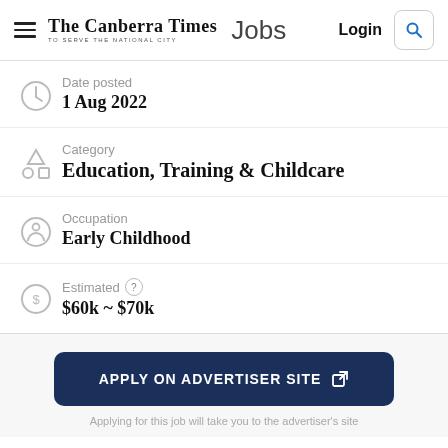The Canberra Times Jobs — Login
Date posted
1 Aug 2022
Category
Education, Training & Childcare
Occupation
Early Childhood
Estimated ?
$60k ~ $70k
APPLY ON ADVERTISER SITE
Applying for this job will take you to the advertiser's site